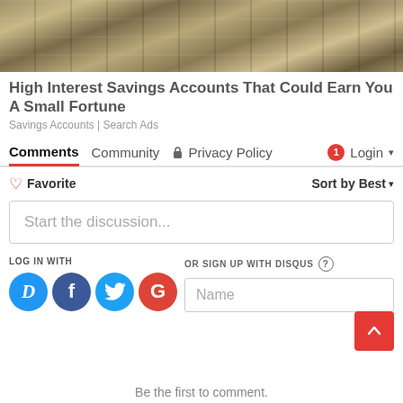[Figure (photo): Stack of money/cash bundles, close-up photograph forming the ad banner image]
High Interest Savings Accounts That Could Earn You A Small Fortune
Savings Accounts | Search Ads
Comments   Community   🔒 Privacy Policy   1  Login ▾
♡ Favorite   Sort by Best ▾
Start the discussion...
LOG IN WITH
OR SIGN UP WITH DISQUS ?
Name
Be the first to comment.